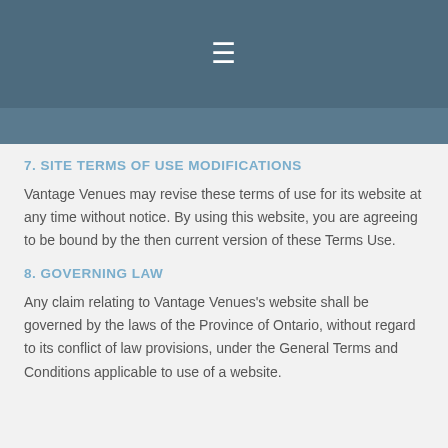≡
7. SITE TERMS OF USE MODIFICATIONS
Vantage Venues may revise these terms of use for its website at any time without notice. By using this website, you are agreeing to be bound by the then current version of these Terms Use.
8. GOVERNING LAW
Any claim relating to Vantage Venues's website shall be governed by the laws of the Province of Ontario, without regard to its conflict of law provisions, under the General Terms and Conditions applicable to use of a website.